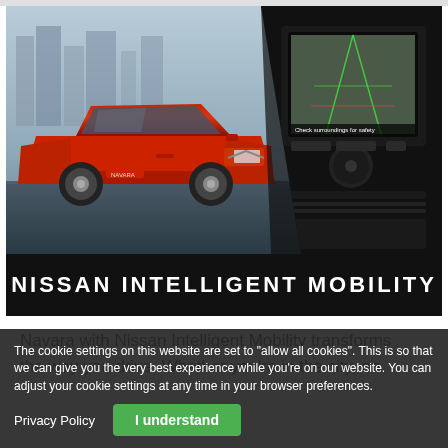[Figure (photo): Split image: left side shows a red Nissan Navara SUV/pickup truck from the front-left angle against a blurred city background; right side shows a close-up of the car's infotainment/navigation screen displaying a rearview camera feed with text 'Check surroundings for safety']
NISSAN INTELLIGENT MOBILITY
Navara with Nissan Intelligent Mobility transforms the way you drive. Whether you're in the city, on the expressway, or off-road, Nissan Intelligent Mobility. For those who demand everything easier.
The cookie settings on this website are set to "allow all cookies". This is so that we can give you the very best experience while you're on our website. You can adjust your cookie settings at any time in your browser preferences.
Privacy Policy
I understand